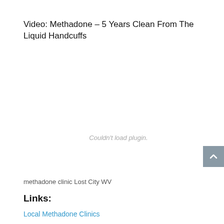Video: Methadone – 5 Years Clean From The Liquid Handcuffs
[Figure (other): Embedded video plugin placeholder showing 'Couldn't load plugin.' message in gray text on white background]
methadone clinic Lost City WV
Links:
Local Methadone Clinics